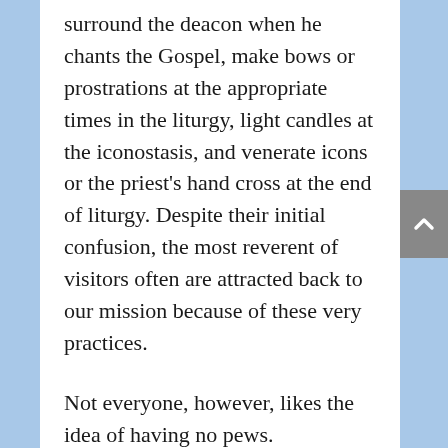surround the deacon when he chants the Gospel, make bows or prostrations at the appropriate times in the liturgy, light candles at the iconostasis, and venerate icons or the priest's hand cross at the end of liturgy. Despite their initial confusion, the most reverent of visitors often are attracted back to our mission because of these very practices.
Not everyone, however, likes the idea of having no pews.
Occasionally visitors and Ukrainian Catholics, who have become accustomed to the practices of the Roman Catholic Church that have crept into the Ukrainian Greek Catholic Church in